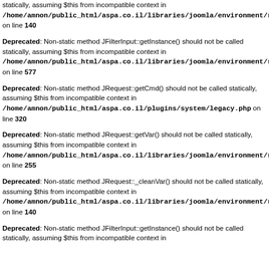statically, assuming $this from incompatible context in /home/amnon/public_html/aspa.co.il/libraries/joomla/environment/request.php on line 140
Deprecated: Non-static method JFilterInput::getInstance() should not be called statically, assuming $this from incompatible context in /home/amnon/public_html/aspa.co.il/libraries/joomla/environment/request.php on line 577
Deprecated: Non-static method JRequest::getCmd() should not be called statically, assuming $this from incompatible context in /home/amnon/public_html/aspa.co.il/plugins/system/legacy.php on line 320
Deprecated: Non-static method JRequest::getVar() should not be called statically, assuming $this from incompatible context in /home/amnon/public_html/aspa.co.il/libraries/joomla/environment/request.php on line 255
Deprecated: Non-static method JRequest::_cleanVar() should not be called statically, assuming $this from incompatible context in /home/amnon/public_html/aspa.co.il/libraries/joomla/environment/request.php on line 140
Deprecated: Non-static method JFilterInput::getInstance() should not be called statically, assuming $this from incompatible context in